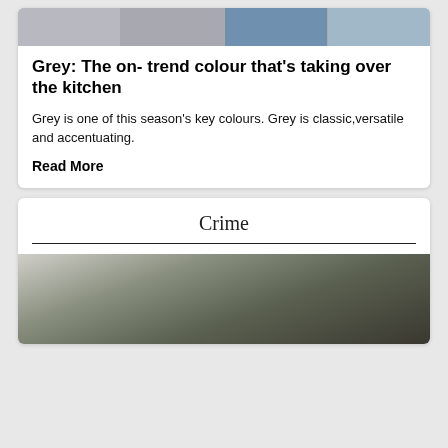[Figure (photo): Strip of kitchen product images at top of card]
Grey: The on- trend colour that’s taking over the kitchen
Grey is one of this season’s key colours. Grey is classic,versatile and accentuating.
Read More
Crime
[Figure (photo): Person in white suit holding a rifle outdoors]